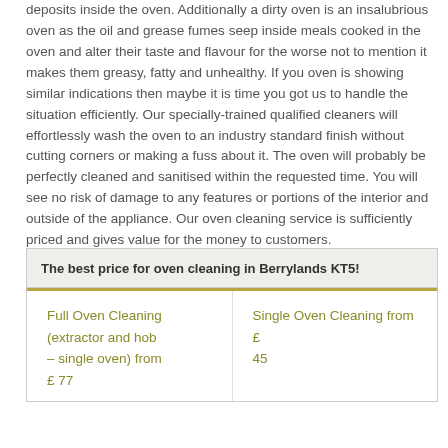deposits inside the oven. Additionally a dirty oven is an insalubrious oven as the oil and grease fumes seep inside meals cooked in the oven and alter their taste and flavour for the worse not to mention it makes them greasy, fatty and unhealthy. If you oven is showing similar indications then maybe it is time you got us to handle the situation efficiently. Our specially-trained qualified cleaners will effortlessly wash the oven to an industry standard finish without cutting corners or making a fuss about it. The oven will probably be perfectly cleaned and sanitised within the requested time. You will see no risk of damage to any features or portions of the interior and outside of the appliance. Our oven cleaning service is sufficiently priced and gives value for the money to customers.
| The best price for oven cleaning in Berrylands KT5! |  |
| --- | --- |
| Full Oven Cleaning (extractor and hob – single oven) from £ 77 | Single Oven Cleaning from £ 45 |
| Double Oven... | Single... |